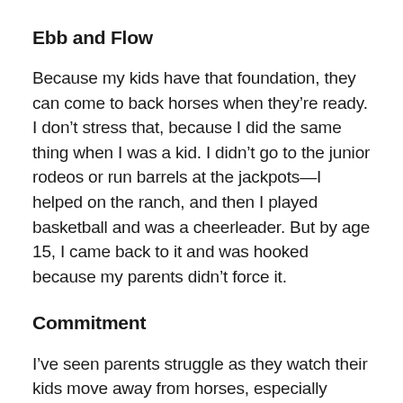Ebb and Flow
Because my kids have that foundation, they can come to back horses when they’re ready. I don’t stress that, because I did the same thing when I was a kid. I didn’t go to the junior rodeos or run barrels at the jackpots—I helped on the ranch, and then I played basketball and was a cheerleader. But by age 15, I came back to it and was hooked because my parents didn’t force it.
Commitment
I’ve seen parents struggle as they watch their kids move away from horses, especially when there’s a financial commitment involved. My kids know how hard their dad and I, and so